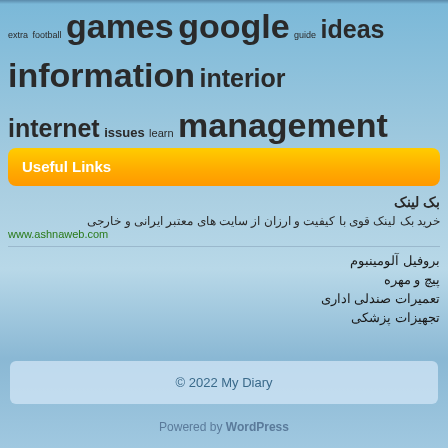[Figure (infographic): Tag cloud with words of varying sizes: extra, football, games, google, guide, ideas, information, interior, internet, issues, learn, management, market, marketing, marketplace, markets, methods, might, online, really, revealed, search, secret, simple, sport, sports, steps, strategies, strategy, suggestions, television, these, three, video, website, websites, which]
Useful Links
بک لینک
خرید بک لینک قوی با کیفیت و ارزان از سایت های معتبر ایرانی و خارجی
www.ashnaweb.com
بروفیل آلومینبوم
پیچ و مهره
تعمیرات صندلی اداری
تجهیزات پزشکی
© 2022 My Diary
Powered by WordPress